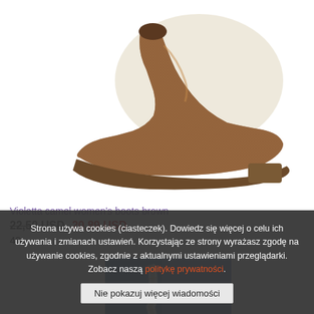[Figure (photo): Camel/brown suede women's ankle boot photographed from side angle on white background]
Violetta camel women's boots brown
22,50 USD 20,89 USD
40
[Figure (photo): Close-up of distressed blue denim jeans with ripped knees and boots]
Strona używa cookies (ciasteczek). Dowiedz się więcej o celu ich używania i zmianach ustawień. Korzystając ze strony wyrażasz zgodę na używanie cookies, zgodnie z aktualnymi ustawieniami przeglądarki. Zobacz naszą politykę prywatności.
Nie pokazuj więcej wiadomości